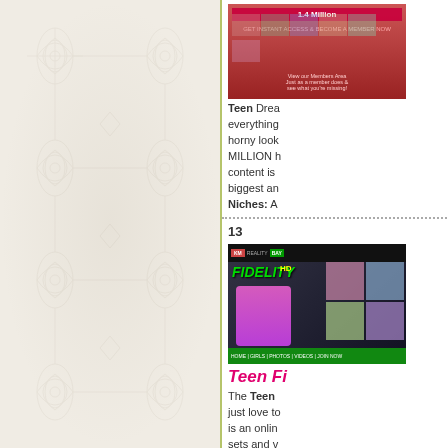[Figure (screenshot): Teen Dreams website screenshot showing 1.4 Million members banner]
Teen Dreams - everything a horny look... MILLION h... content is ... biggest an... Niches: A...
13
[Figure (screenshot): Teen Fidelity website screenshot showing colorful anime-style graphics]
Teen Fi...
The Teen ... just love to... is an onlin... sets and v... $8.95 full a... Niches: A...
14
[Figure (screenshot): Teen Models website screenshot showing dark themed site with a model]
Teen Mo...
Teen Mod... and the qu... are like the... see every... are beauti... toy mastur... the site. M...